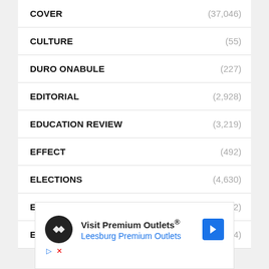COVER (37,046)
CULTURE (55)
DURO ONABULE (227)
EDITORIAL (2,928)
EDUCATION REVIEW (3,219)
EFFECT (492)
ELECTIONS (4,630)
ENTERTAINMENT (5,582)
EVENTS (644)
[Figure (infographic): Advertisement for Visit Premium Outlets / Leesburg Premium Outlets with black circular logo, blue arrow navigation icon, and small ad attribution icons]